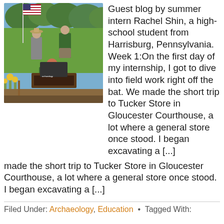[Figure (photo): Outdoor photo showing three people excavating at an archaeology field site. An American flag is visible in the background, along with green trees and yellow flowers. Two people stand over an excavation trench while a third person in a dark green shirt crouches in the foreground photographing or working in the trench.]
Guest blog by summer intern Rachel Shin, a high-school student from Harrisburg, Pennsylvania. Week 1:On the first day of my internship, I got to dive into field work right off the bat. We made the short trip to Tucker Store in Gloucester Courthouse, a lot where a general store once stood. I began excavating a [...]
Filed Under: Archaeology, Education • Tagged With: